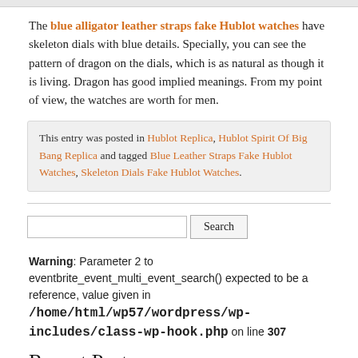The blue alligator leather straps fake Hublot watches have skeleton dials with blue details. Specially, you can see the pattern of dragon on the dials, which is as natural as though it is living. Dragon has good implied meanings. From my point of view, the watches are worth for men.
This entry was posted in Hublot Replica, Hublot Spirit Of Big Bang Replica and tagged Blue Leather Straps Fake Hublot Watches, Skeleton Dials Fake Hublot Watches.
Warning: Parameter 2 to eventbrite_event_multi_event_search() expected to be a reference, value given in /home/html/wp57/wordpress/wp-includes/class-wp-hook.php on line 307
Recent Posts